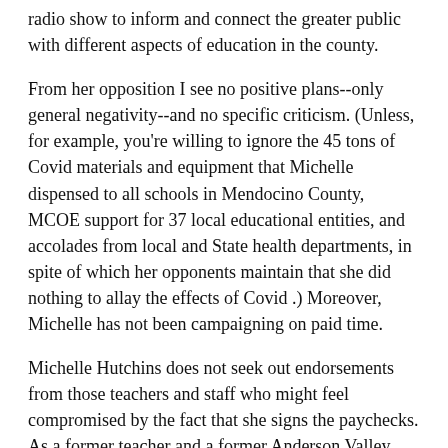radio show to inform and connect the greater public with different aspects of education in the county.
From her opposition I see no positive plans--only general negativity--and no specific criticism. (Unless, for example, you're willing to ignore the 45 tons of Covid materials and equipment that Michelle dispensed to all schools in Mendocino County, MCOE support for 37 local educational entities, and accolades from local and State health departments, in spite of which her opponents maintain that she did nothing to allay the effects of Covid .) Moreover, Michelle has not been campaigning on paid time.
Michelle Hutchins does not seek out endorsements from those teachers and staff who might feel compromised by the fact that she signs the paychecks. As a former teacher and a former Anderson Valley Board of Education member who was fortunate enough